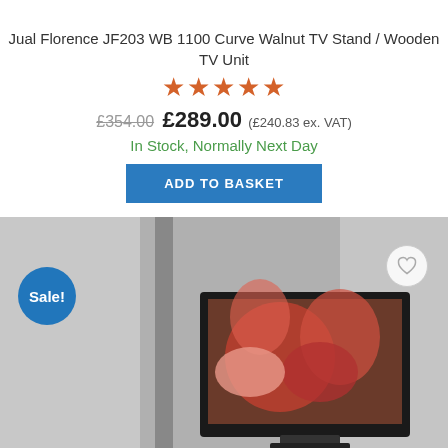Jual Florence JF203 WB 1100 Curve Walnut TV Stand / Wooden TV Unit
[Figure (other): Star rating: 5 orange stars]
£354.00 £289.00 (£240.83 ex. VAT)
In Stock, Normally Next Day
ADD TO BASKET
[Figure (photo): Product photo of Jual Florence TV stand unit with a flat screen TV displaying red flowers, shown in a modern room setting. Sale! badge in blue circle on left, wishlist heart icon on right.]